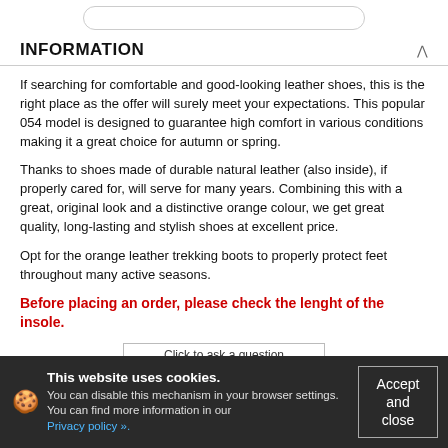[Figure (other): Rounded search bar / input field at top of page]
INFORMATION
If searching for comfortable and good-looking leather shoes, this is the right place as the offer will surely meet your expectations. This popular 054 model is designed to guarantee high comfort in various conditions making it a great choice for autumn or spring.
Thanks to shoes made of durable natural leather (also inside), if properly cared for, will serve for many years. Combining this with a great, original look and a distinctive orange colour, we get great quality, long-lasting and stylish shoes at excellent price.
Opt for the orange leather trekking boots to properly protect feet throughout many active seasons.
Before placing an order, please check the lenght of the insole.
[Figure (screenshot): Partially visible button labeled 'Click to ask a question']
This website uses cookies. You can disable this mechanism in your browser settings. You can find more information in our Privacy policy ».